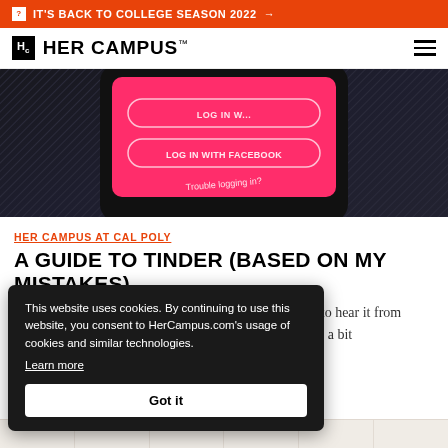IT'S BACK TO COLLEGE SEASON 2022 →
HER CAMPUS™
[Figure (screenshot): Tinder app login screen showing pink UI with 'LOG IN WITH FACEBOOK' and 'Trouble logging in?' options on a dark striped background]
HER CAMPUS AT CAL POLY
A GUIDE TO TINDER (BASED ON MY MISTAKES)
None of this is rocket science, but sometimes we need to hear it from someone else. Hopefully your tinder experience will be a bit
This website uses cookies. By continuing to use this website, you consent to HerCampus.com's usage of cookies and similar technologies. Learn more
Got it